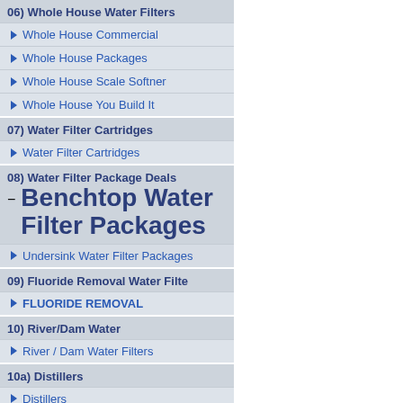06) Whole House Water Filters
Whole House Commercial
Whole House Packages
Whole House Scale Softner
Whole House You Build It
07) Water Filter Cartridges
Water Filter Cartridges
08) Water Filter Package Deals
Benchtop Water Filter Packages
Undersink Water Filter Packages
09) Fluoride Removal Water Filte
FLUORIDE REMOVAL
10) River/Dam Water
River / Dam Water Filters
10a) Distillers
Distillers
11) Bore Water Filter Solutions
Bore Water Filter Solutions
11A) Iron Reduction Water Filter